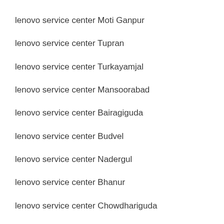lenovo service center Moti Ganpur
lenovo service center Tupran
lenovo service center Turkayamjal
lenovo service center Mansoorabad
lenovo service center Bairagiguda
lenovo service center Budvel
lenovo service center Nadergul
lenovo service center Bhanur
lenovo service center Chowdhariguda
lenovo service center Financial District
lenovo service center Patancheru-Shankarpalli Road
lenovo service center New Nallakunta